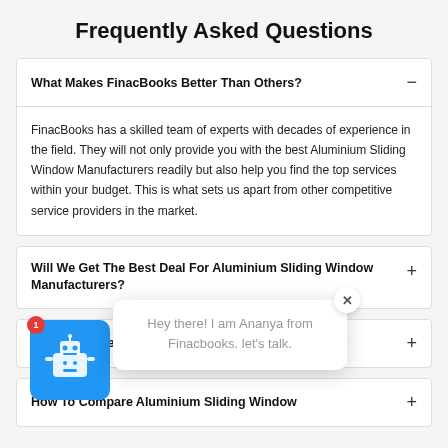Frequently Asked Questions
What Makes FinacBooks Better Than Others?
FinacBooks has a skilled team of experts with decades of experience in the field. They will not only provide you with the best Aluminium Sliding Window Manufacturers readily but also help you find the top services within your budget. This is what sets us apart from other competitive service providers in the market.
Will We Get The Best Deal For Aluminium Sliding Window Manufacturers?
A... Before Calling ic...
How To Compare Aluminium Sliding Window...
[Figure (screenshot): Chat popup with bot avatar. Bot avatar is a robot icon on blue background with red badge showing '1'. Chat popup shows text: 'Hey there! I am Ananya from Finacbooks. let's talk.' with a close button (×).]